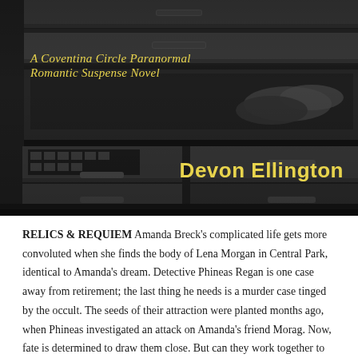[Figure (photo): Black and white photograph of wooden flat file drawers, some open revealing contents. Dark background with moody lighting.]
A Coventina Circle Paranormal Romantic Suspense Novel
Devon Ellington
RELICS & REQUIEM Amanda Breck's complicated life gets more convoluted when she finds the body of Lena Morgan in Central Park, identical to Amanda's dream. Detective Phineas Regan is one case away from retirement; the last thing he needs is a murder case tinged by the occult. The seeds of their attraction were planted months ago, when Phineas investigated an attack on Amanda's friend Morag. Now, fate is determined to draw them close. But can they work together to